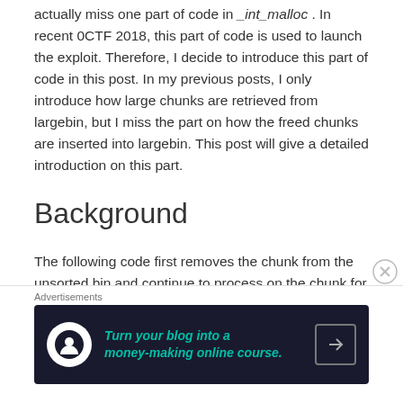actually miss one part of code in _int_malloc . In recent 0CTF 2018, this part of code is used to launch the exploit. Therefore, I decide to introduce this part of code in this post. In my previous posts, I only introduce how large chunks are retrieved from largebin, but I miss the part on how the freed chunks are inserted into largebin. This post will give a detailed introduction on this part.
Background
The following code first removes the chunk from the unsorted bin and continue to process on the chunk for further operation. All the content in this post will
Advertisements
[Figure (infographic): Advertisement banner: dark background with Teachable logo icon, teal italic text 'Turn your blog into a money-making online course.' and a right arrow button]